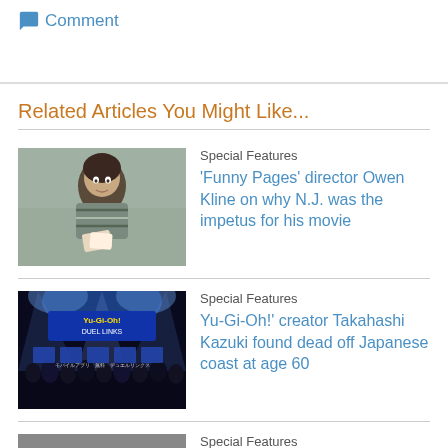💬 Comment
Related Articles You Might Like...
Special Features
[Figure (photo): Young man with curly hair looking up, holding cards, against stone wall background.]
'Funny Pages' director Owen Kline on why N.J. was the impetus for his movie
Special Features
[Figure (photo): Yu-Gi-Oh! Duel Links event with crowd and bright stage lighting.]
Yu-Gi-Oh!' creator Takahashi Kazuki found dead off Japanese coast at age 60
Special Features
[Figure (photo): Partial image of a person with blonde hair.]